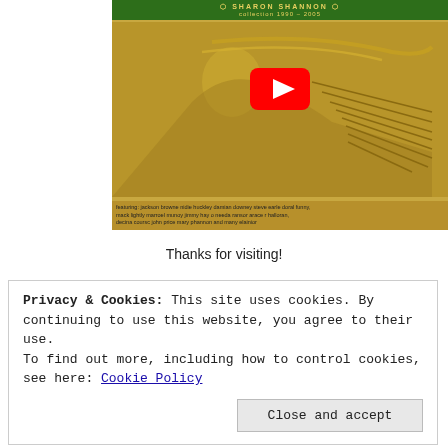[Figure (screenshot): YouTube video thumbnail showing Sharon Shannon collection 1990-2005 album cover with a relief sculpture of an accordion player, with a red YouTube play button overlay in the center.]
Thanks for visiting!
Privacy & Cookies: This site uses cookies. By continuing to use this website, you agree to their use.
To find out more, including how to control cookies, see here: Cookie Policy
Close and accept